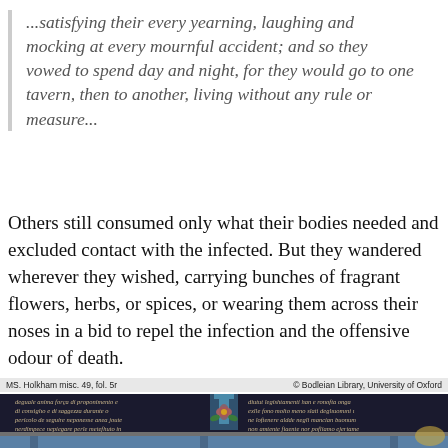...satisfying their every yearning, laughing and mocking at every mournful accident; and so they vowed to spend day and night, for they would go to one tavern, then to another, living without any rule or measure...
Others still consumed only what their bodies needed and excluded contact with the infected. But they wandered wherever they wished, carrying bunches of fragrant flowers, herbs, or spices, or wearing them across their noses in a bid to repel the infection and the offensive odour of death.
[Figure (photo): Manuscript illumination from MS. Holkham misc. 49, fol. 5r, Bodleian Library, University of Oxford. Shows medieval manuscript text in two columns with decorative floral illustration in the center, and architectural elements at the bottom.]
MS. Holkham misc. 49, fol. 5r     © Bodleian Library, University of Oxford